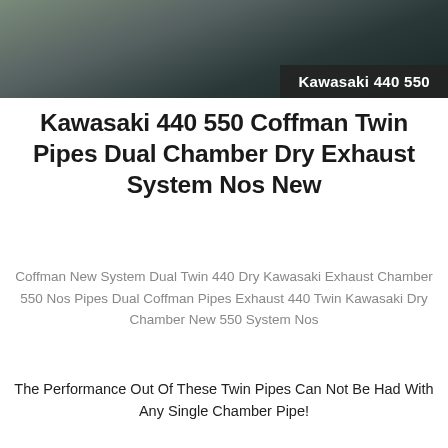[Figure (photo): Product photo of Kawasaki 440 550 exhaust system with dark label overlay reading 'Kawasaki 440 550']
Kawasaki 440 550 Coffman Twin Pipes Dual Chamber Dry Exhaust System Nos New
Coffman New System Dual Twin 440 Dry Kawasaki Exhaust Chamber 550 Nos Pipes Dual Coffman Pipes Exhaust 440 Twin Kawasaki Dry Chamber New 550 System Nos
The Performance Out Of These Twin Pipes Can Not Be Had With Any Single Chamber Pipe!
$1500.00
[Figure (logo): YAM PARTS logo — red background with white letters Y, A, M and a dark gear icon, with PARTS written below]